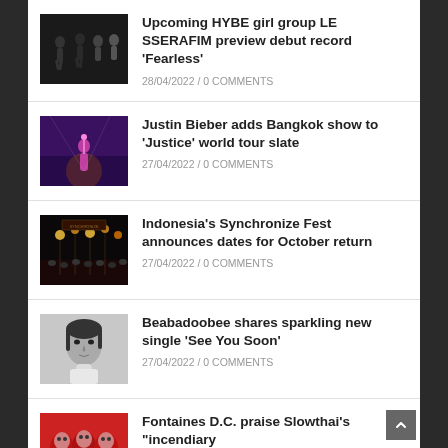Upcoming HYBE girl group LE SSERAFIM preview debut record ‘Fearless’ / 28/04/2022 / 0 COMMENTS
Justin Bieber adds Bangkok show to ‘Justice’ world tour slate / 27/04/2022 / 0 COMMENTS
Indonesia’s Synchronize Fest announces dates for October return / 27/04/2022 / 0 COMMENTS
Beabadoobee shares sparkling new single ‘See You Soon’ / 27/04/2022 / 0 COMMENTS
Fontaines D.C. praise Slowthai’s “incendiary”...